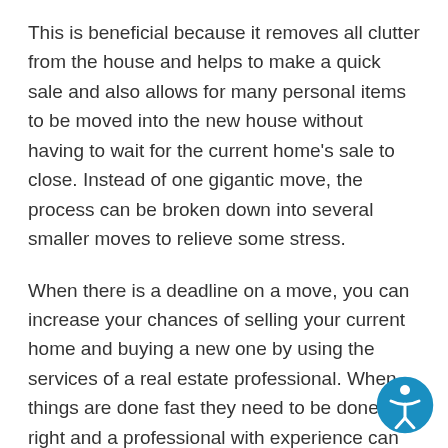This is beneficial because it removes all clutter from the house and helps to make a quick sale and also allows for many personal items to be moved into the new house without having to wait for the current home's sale to close. Instead of one gigantic move, the process can be broken down into several smaller moves to relieve some stress.
When there is a deadline on a move, you can increase your chances of selling your current home and buying a new one by using the services of a real estate professional. When things are done fast they need to be done right and a professional with experience can facilitate the entire process while making sure nothing slips through the cracks.